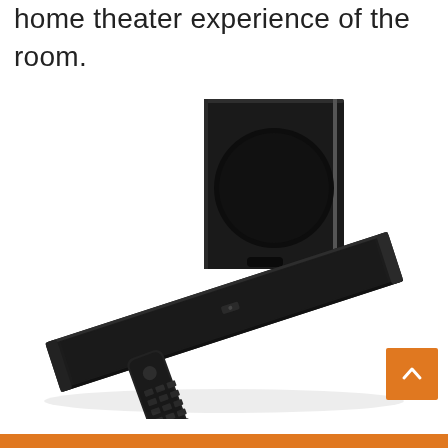home theater experience of the room.
[Figure (photo): A black soundbar with wireless subwoofer and remote control. The soundbar is long and slim, positioned diagonally. The subwoofer is a tall black box with a circular bass port. A small remote control is placed in front of the soundbar.]